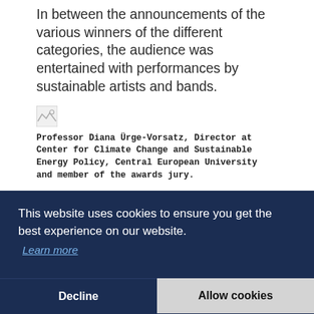In between the announcements of the various winners of the different categories, the audience was entertained with performances by sustainable artists and bands.
[Figure (photo): Broken/missing image placeholder thumbnail]
Professor Diana Ürge-Vorsatz, Director at Center for Climate Change and Sustainable Energy Policy, Central European University and member of the awards jury.
Recycled Instruments
B... c... in... O... s...
A... in... drawings were projected on a large screen. In the hall,
[Figure (screenshot): Cookie consent banner overlay with dark navy background. Message: 'This website uses cookies to ensure you get the best experience on our website.' with 'Learn more' link. Buttons: 'Decline' and 'Allow cookies'.]